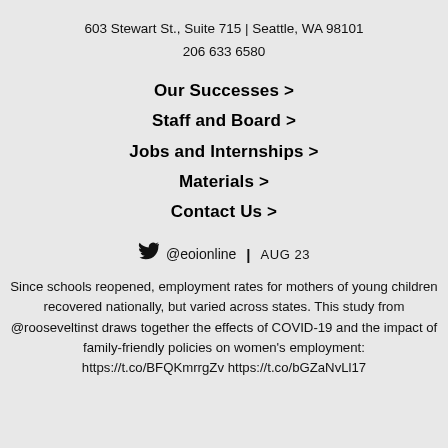603 Stewart St., Suite 715 | Seattle, WA 98101
206 633 6580
Our Successes >
Staff and Board >
Jobs and Internships >
Materials >
Contact Us >
@eoionline  |  AUG 23
Since schools reopened, employment rates for mothers of young children recovered nationally, but varied across states. This study from @rooseveltinst draws together the effects of COVID-19 and the impact of family-friendly policies on women's employment: https://t.co/BFQKmrrgZv https://t.co/bGZaNvLl17